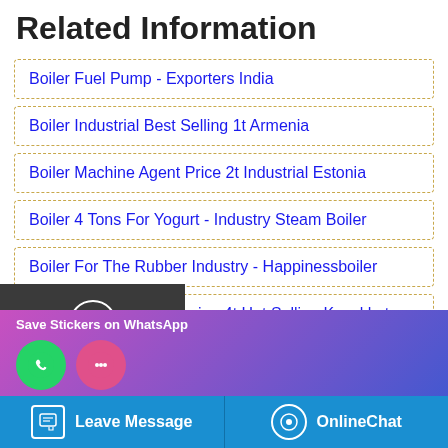Related Information
Boiler Fuel Pump - Exporters India
Boiler Industrial Best Selling 1t Armenia
Boiler Machine Agent Price 2t Industrial Estonia
Boiler 4 Tons For Yogurt - Industry Steam Boiler
Boiler For The Rubber Industry - Happinessboiler
Boiler Plant Energy Saving 4t Hot Selling Kazakhstan
Boiler Feedwater Pump Recirculation - Sweden
cals - Clean Boiler Supplier
Chat
Email
Contact
Save Stickers on WhatsApp
Leave Message
OnlineChat